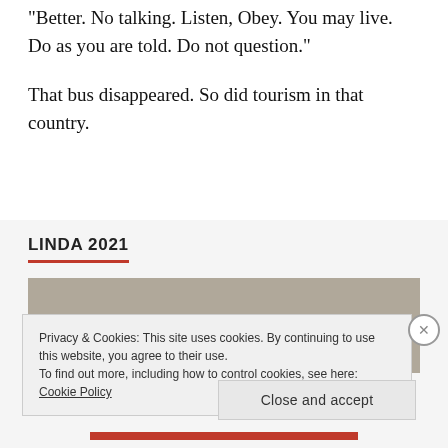“Better. No talking. Listen, Obey. You may live. Do as you are told. Do not question.”
That bus disappeared. So did tourism in that country.
LINDA 2021
[Figure (photo): A gray/beige photographic image, partially visible, appearing to show an outdoor or landscape scene.]
Privacy & Cookies: This site uses cookies. By continuing to use this website, you agree to their use.
To find out more, including how to control cookies, see here: Cookie Policy
Close and accept